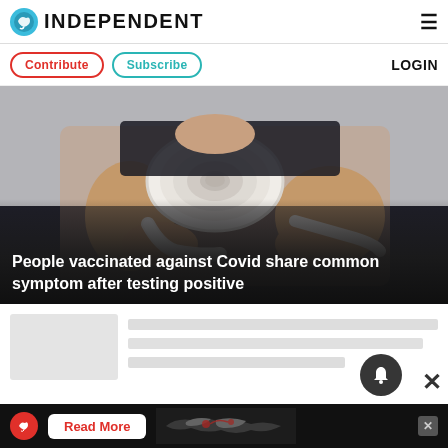INDEPENDENT
Contribute   Subscribe   LOGIN
[Figure (photo): Person holding a toilet paper roll and pulling out a sheet, against a light grey background]
People vaccinated against Covid share common symptom after testing positive
[Figure (screenshot): Partially loaded article content with thumbnail placeholder and grey skeleton text lines, with notification bell icon and close X button overlaid]
[Figure (infographic): Dark advertisement banner with Independent logo icon, Read More button, and partial world map graphic with red highlights]